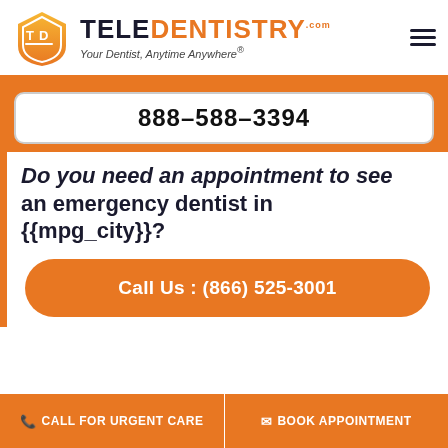[Figure (logo): TeleDentistry logo with orange shield icon and text 'TELEDENTISTRY.com — Your Dentist, Anytime Anywhere®']
888-588-3394
Do you need an appointment to see an emergency dentist in {{mpg_city}}?
Call Us : (866) 525-3001
CALL FOR URGENT CARE   BOOK APPOINTMENT